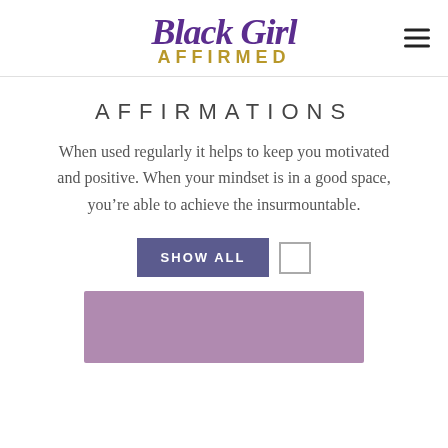Black Girl AFFIRMED
AFFIRMATIONS
When used regularly it helps to keep you motivated and positive. When your mindset is in a good space, you’re able to achieve the insurmountable.
SHOW ALL
[Figure (photo): Partial view of a product or decorative image with purple/mauve background, bottom of page]